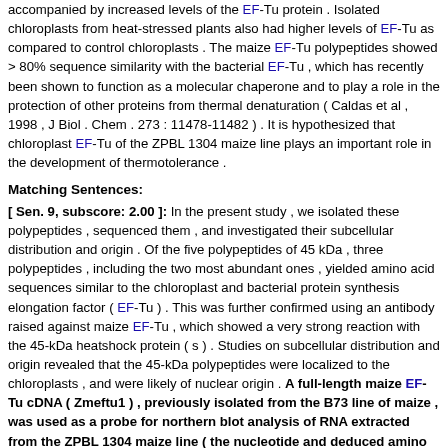accompanied by increased levels of the EF-Tu protein . Isolated chloroplasts from heat-stressed plants also had higher levels of EF-Tu as compared to control chloroplasts . The maize EF-Tu polypeptides showed > 80% sequence similarity with the bacterial EF-Tu , which has recently been shown to function as a molecular chaperone and to play a role in the protection of other proteins from thermal denaturation ( Caldas et al , 1998 , J Biol . Chem . 273 : 11478-11482 ) . It is hypothesized that chloroplast EF-Tu of the ZPBL 1304 maize line plays an important role in the development of thermotolerance .
Matching Sentences:
[ Sen. 9, subscore: 2.00 ]: In the present study , we isolated these polypeptides , sequenced them , and investigated their subcellular distribution and origin . Of the five polypeptides of 45 kDa , three polypeptides , including the two most abundant ones , yielded amino acid sequences similar to the chloroplast and bacterial protein synthesis elongation factor ( EF-Tu ) . This was further confirmed using an antibody raised against maize EF-Tu , which showed a very strong reaction with the 45-kDa heatshock protein ( s ) . Studies on subcellular distribution and origin revealed that the 45-kDa polypeptides were localized to the chloroplasts , and were likely of nuclear origin . A full-length maize EF-Tu cDNA ( Zmeftu1 ) , previously isolated from the B73 line of maize , was used as a probe for northern blot analysis of RNA extracted from the ZPBL 1304 maize line ( the nucleotide and deduced amino acid sequences of Zmeftu1 are 88% identical to the rice EF-Tu sequence ) . Northern blots showed a 1 . 85-fold increase in steady-state levels of EF-Tu mRNA during heat stress . An increase in EF-Tu transcript levels during heat stress was accompanied by increased levels of the EF-Tu protein . Isolated chloroplasts from heat-stressed plants also had higher levels of EF-Tu as compared to control chloroplasts . The maize EF-Tu polypeptides showed > 80% sequence